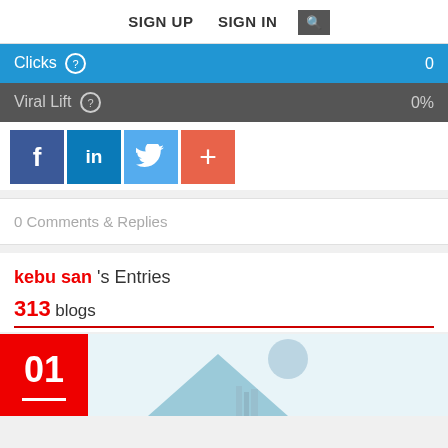SIGN UP   SIGN IN   [search]
Clicks  0
Viral Lift  0%
[Figure (other): Social share icons: Facebook, LinkedIn, Twitter, and a plus/more button]
0 Comments & Replies
kebu san 's Entries
313 blogs
[Figure (other): Blog entry card preview showing date '01' on red background and a blog thumbnail image with mountain/landscape graphic and circular element]